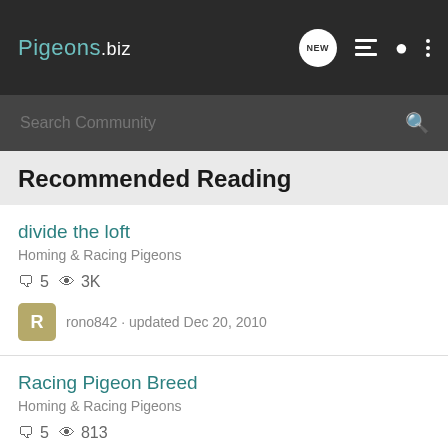Pigeons.biz
Recommended Reading
divide the loft · Homing & Racing Pigeons · 5 comments · 3K views · rono842 · updated Dec 20, 2010
Racing Pigeon Breed · Homing & Racing Pigeons · 5 comments · 813 views · yang_fla0vr · updated Aug 2, 2009